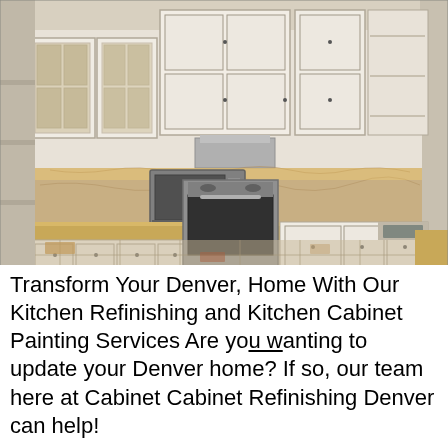[Figure (photo): Photo of a renovated kitchen with white cabinets, stainless steel appliances including a microwave and gas range/oven, granite or stone backsplash with warm lighting, stone tile floor, and a sink visible on the right side.]
Transform Your Denver, Home With Our Kitchen Refinishing and Kitchen Cabinet Painting Services Are you wanting to update your Denver home? If so, our team here at Cabinet Cabinet Refinishing Denver can help!